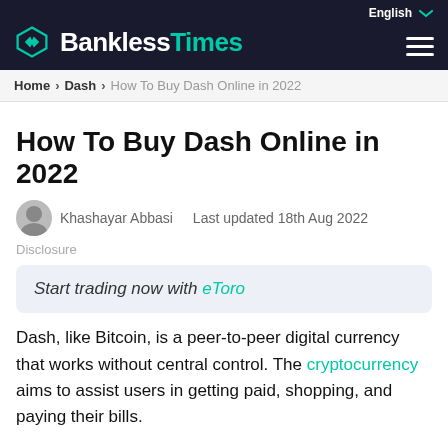BanklessTimes — English
Home > Dash > How To Buy Dash Online in 2022
How To Buy Dash Online in 2022
Khashayar Abbasi   Last updated 18th Aug 2022
Disclosure
Start trading now with eToro
Dash, like Bitcoin, is a peer-to-peer digital currency that works without central control. The cryptocurrency aims to assist users in getting paid, shopping, and paying their bills.